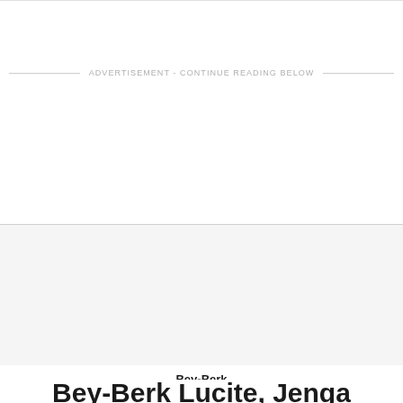ADVERTISEMENT - CONTINUE READING BELOW
Bey-Berk
Bey-Berk Lucite, Jenga